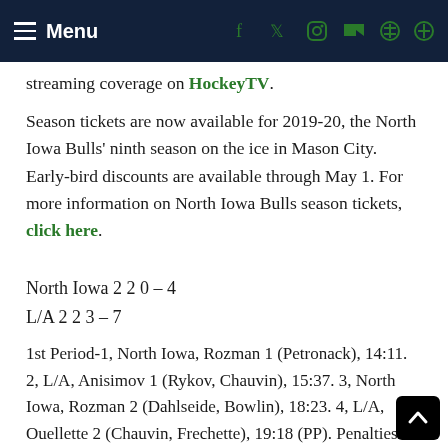Menu
streaming coverage on HockeyTV.
Season tickets are now available for 2019-20, the North Iowa Bulls' ninth season on the ice in Mason City. Early-bird discounts are available through May 1. For more information on North Iowa Bulls season tickets, click here.
North Iowa 2 2 0 – 4
L/A 2 2 3 – 7
1st Period-1, North Iowa, Rozman 1 (Petronack), 14:11. 2, L/A, Anisimov 1 (Rykov, Chauvin), 15:37. 3, North Iowa, Rozman 2 (Dahlseide, Bowlin), 18:23. 4, L/A, Ouellette 2 (Chauvin, Frechette), 19:18 (PP). Penalties-Blackowiak Nio (boarding-minor), 3:29; Studioso Nio (tripping-minor), 19:19